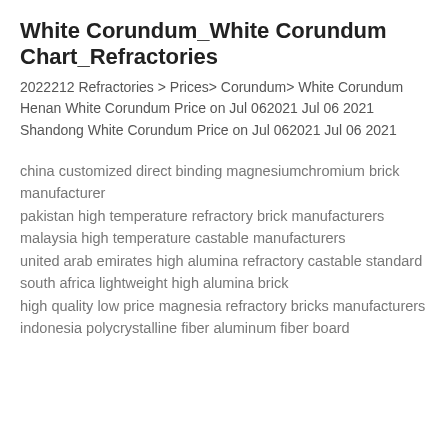White Corundum_White Corundum Chart_Refractories
2022212 Refractories > Prices> Corundum> White Corundum Henan White Corundum Price on Jul 062021 Jul 06 2021 Shandong White Corundum Price on Jul 062021 Jul 06 2021
china customized direct binding magnesiumchromium brick manufacturer
pakistan high temperature refractory brick manufacturers
malaysia high temperature castable manufacturers
united arab emirates high alumina refractory castable standard
south africa lightweight high alumina brick
high quality low price magnesia refractory bricks manufacturers
indonesia polycrystalline fiber aluminum fiber board